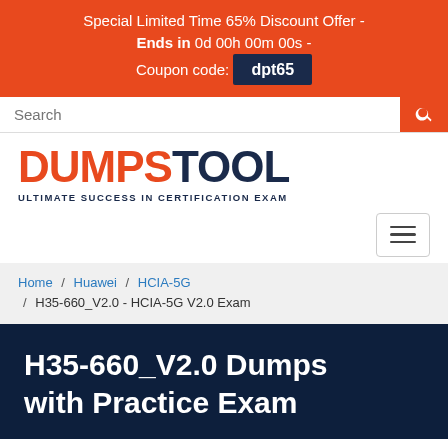Special Limited Time 65% Discount Offer - Ends in 0d 00h 00m 00s - Coupon code: dpt65
Search
[Figure (logo): DumpsTool logo with tagline ULTIMATE SUCCESS IN CERTIFICATION EXAM]
Navigation hamburger menu button
Home / Huawei / HCIA-5G / H35-660_V2.0 - HCIA-5G V2.0 Exam
H35-660_V2.0 Dumps with Practice Exam